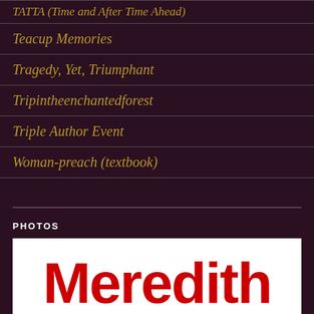TATTA (Time and After Time Ahead)
Teacup Memories
Tragedy, Yet, Triumphant
Tripintheenchantedforest
Triple Author Event
Woman-preach (textbook)
PHOTOS
[Figure (photo): Photo showing large bold red text reading 'Meredith' on a white background]